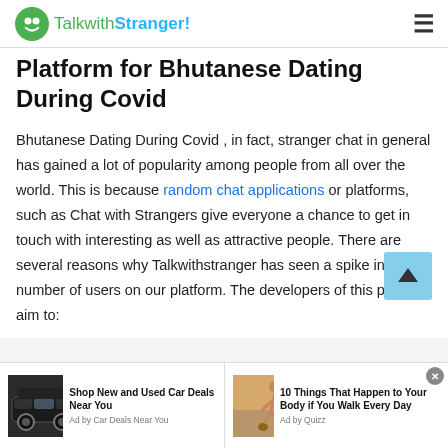TalkwithStranger!
Platform for Bhutanese Dating During Covid
Bhutanese Dating During Covid , in fact, stranger chat in general has gained a lot of popularity among people from all over the world. This is because random chat applications or platforms, such as Chat with Strangers give everyone a chance to get in touch with interesting as well as attractive people. There are several reasons why Talkwithstranger has seen a spike in the number of users on our platform. The developers of this platform aim to:
[Figure (infographic): Advertisement bar at bottom with two ads: 'Shop New and Used Car Deals Near You' (Ad by Car Deals Near You) and '10 Things That Happen to Your Body if You Walk Every Day' (Ad by Quizz)]